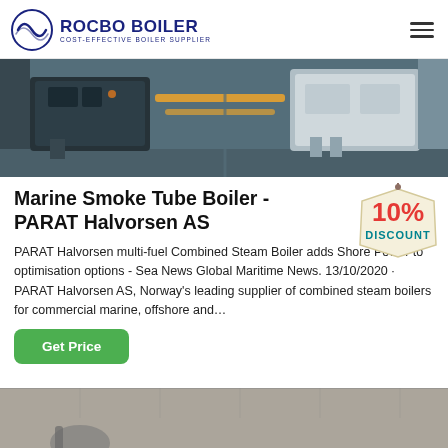[Figure (logo): Rocbo Boiler logo with circular wave icon and text 'ROCBO BOILER / COST-EFFECTIVE BOILER SUPPLIER']
[Figure (photo): Industrial steam boiler equipment photo showing dark blue/grey industrial boilers in a facility]
Marine Smoke Tube Boiler - PARAT Halvorsen AS
[Figure (illustration): 10% DISCOUNT badge/tag illustration in red and teal on cream background]
PARAT Halvorsen multi-fuel Combined Steam Boiler adds Shore Power to optimisation options - Sea News Global Maritime News. 13/10/2020 · PARAT Halvorsen AS, Norway's leading supplier of combined steam boilers for commercial marine, offshore and…
Get Price
[Figure (photo): Partial bottom image showing industrial equipment in a grey/sepia toned facility]